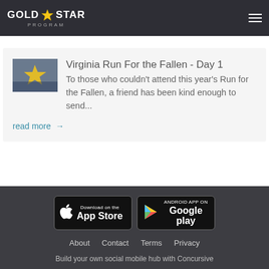GOLD STAR PROGRAM
Virginia Run For the Fallen - Day 1
To those who couldn't attend this year's Run for the Fallen, a friend has been kind enough to send...
read more →
Download on the App Store  |  ANDROID APP ON Google play
About  Contact  Terms  Privacy
Build your own social mobile hub with Concursive